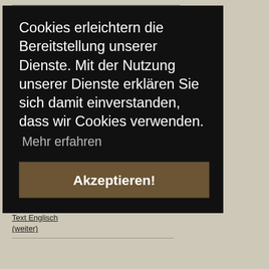Cookies erleichtern die Bereitstellung unserer Dienste. Mit der Nutzung unserer Dienste erklären Sie sich damit einverstanden, dass wir Cookies verwenden.
Mehr erfahren
Akzeptieren!
(weiter)
Text Englisch
(weiter)
Text Englisch
(weiter)
Rhöner Charme on tour